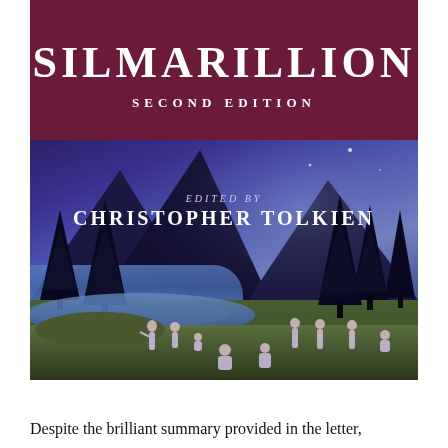[Figure (illustration): Book cover of The Silmarillion, Second Edition, edited by Christopher Tolkien. Deep purple/maroon header bar with the title in large white uppercase serif letters. Below, a fantasy illustration showing a moonlit mountain lake scene with robed figures standing and sitting on a grassy shore, tall dark pine trees, and misty blue-purple mountains in the background.]
Despite the brilliant summary provided in the letter,